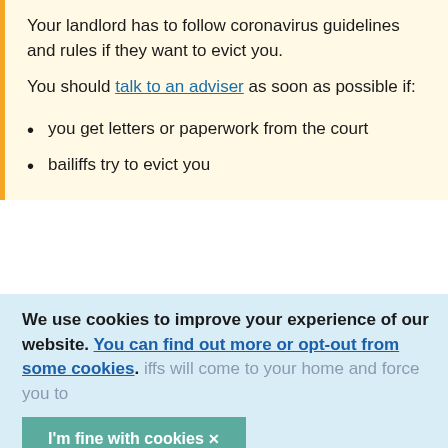Your landlord has to follow coronavirus guidelines and rules if they want to evict you.
You should talk to an adviser as soon as possible if:
you get letters or paperwork from the court
bailiffs try to evict you
The warrant will give a date and time for the eviction. You'll also get a notice of eviction from the bailiffs with the date and time of the eviction.
We use cookies to improve your experience of our website. You can find out more or opt-out from some cookies. ...bailiffs will come to your home and force you to...
I'm fine with cookies ×